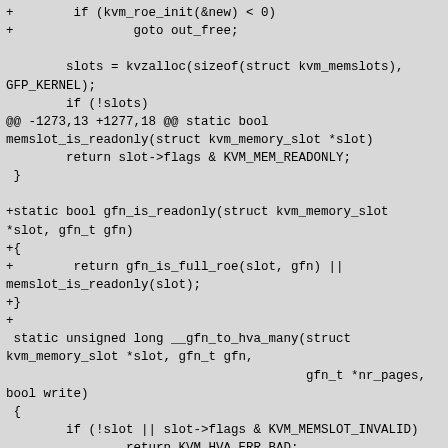[Figure (other): Source code diff showing KVM memory slot readonly changes, including addition of gfn_is_readonly function and modification of __gfn_to_hva_many to use gfn_is_readonly instead of memslot_is_readonly]